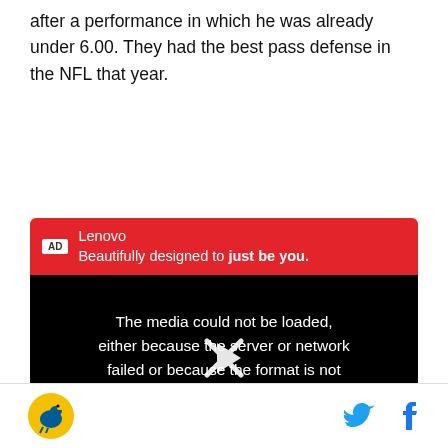after a performance in which he was already under 6.00. They had the best pass defense in the NFL that year.
[Figure (screenshot): Lenovo advertisement banner with video player showing error message: The media could not be loaded, either because the server or network failed or because the format is not supported. Video controls with play button, volume and CC icons visible.]
[Figure (logo): Sports team logo (bird/duck) in gold circle, with Twitter and Facebook social share icons on the right]